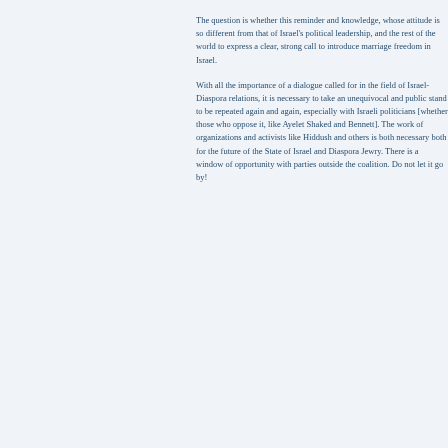The question is whether this reminder and knowledge, whose attitude is so different from that of Israel's political leadership, and the rest of the world to express a clear, strong call to introduce marriage freedom in Israel.
With all the importance of a dialogue called for by many leaders in the field of Israel-Diaspora relations, it is necessary to take an unequivocal and public stand to be repeated again and again, especially with Israeli politicians [whether those who support or oppose it, like Ayelet Shaked and Bennett]. The work of organizations and activists like Hiddush and others is both necessary both for the future of the State of Israel and for Diaspora Jewry. There is a window of opportunity with parties outside the coalition. Do not let it go by!